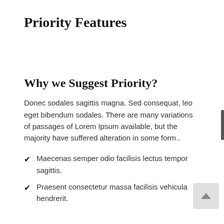Priority Features
Why we Suggest Priority?
Donec sodales sagittis magna. Sed consequat, leo eget bibendum sodales. There are many variations of passages of Lorem Ipsum available, but the majority have suffered alteration in some form..
Maecenas semper odio facilisis lectus tempor sagittis.
Praesent consectetur massa facilisis vehicula hendrerit.